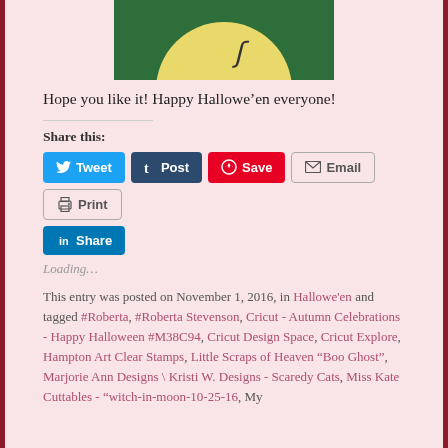[Figure (photo): Partial view of a Halloween-themed craft image showing a yellow moon on green background]
Hope you like it! Happy Hallowe’en everyone!
Share this:
Tweet  Post  Save  Email  Print  Share
Loading…
This entry was posted on November 1, 2016, in Hallowe'en and tagged #Roberta, #Roberta Stevenson, Cricut - Autumn Celebrations - Happy Halloween #M38C94, Cricut Design Space, Cricut Explore, Hampton Art Clear Stamps, Little Scraps of Heaven "Boo Ghost", Marjorie Ann Designs \ Kristi W. Designs - Scaredy Cats, Miss Kate Cuttables - "witch-in-moon-10-25-16, My